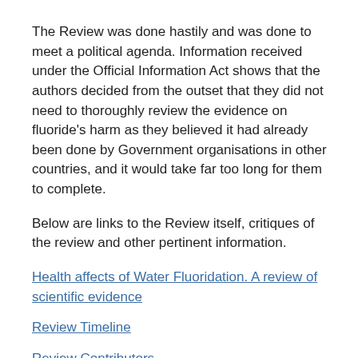The Review was done hastily and was done to meet a political agenda. Information received under the Official Information Act shows that the authors decided from the outset that they did not need to thoroughly review the evidence on fluoride's harm as they believed it had already been done by Government organisations in other countries, and it would take far too long for them to complete.
Below are links to the Review itself, critiques of the review and other pertinent information.
Health affects of Water Fluoridation. A review of scientific evidence
Review Timeline
Review Contributors
International Critique of the Review
Critique by Prof Paul Connett